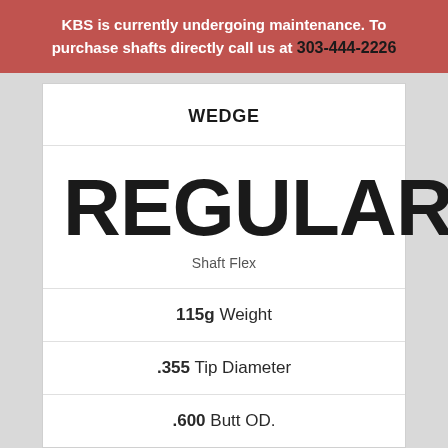KBS is currently undergoing maintenance. To purchase shafts directly call us at 303-444-2226
WEDGE
REGULAR
Shaft Flex
115g Weight
.355 Tip Diameter
.600 Butt OD.